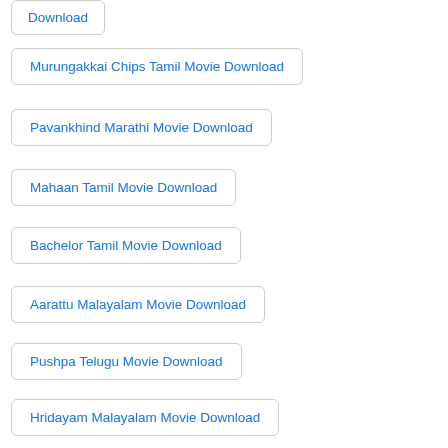Download
Murungakkai Chips Tamil Movie Download
Pavankhind Marathi Movie Download
Mahaan Tamil Movie Download
Bachelor Tamil Movie Download
Aarattu Malayalam Movie Download
Pushpa Telugu Movie Download
Hridayam Malayalam Movie Download
Uncharted Tamil Dubbed Movie Download
Uncharted Tamil Dubbed Movie Download In